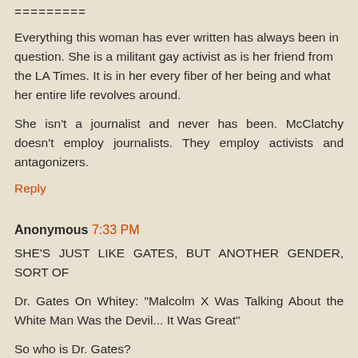=========
Everything this woman has ever written has always been in question. She is a militant gay activist as is her friend from the LA Times. It is in her every fiber of her being and what her entire life revolves around.
She isn't a journalist and never has been. McClatchy doesn't employ journalists. They employ activists and antagonizers.
Reply
Anonymous 7:33 PM
SHE'S JUST LIKE GATES, BUT ANOTHER GENDER, SORT OF
Dr. Gates On Whitey: "Malcolm X Was Talking About the White Man Was the Devil... It Was Great"
So who is Dr. Gates?
Dr. Henry Louis Gates held this conversation in 1994...